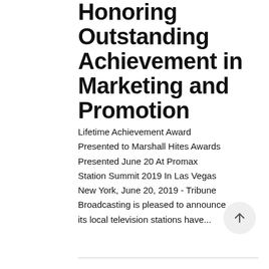Honoring Outstanding Achievement in Marketing and Promotion
Lifetime Achievement Award Presented to Marshall Hites Awards Presented June 20 At Promax Station Summit 2019 In Las Vegas New York, June 20, 2019 - Tribune Broadcasting is pleased to announce its local television stations have...